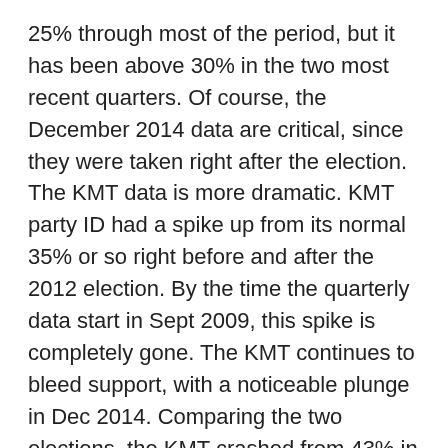25% through most of the period, but it has been above 30% in the two most recent quarters. Of course, the December 2014 data are critical, since they were taken right after the election. The KMT data is more dramatic. KMT party ID had a spike up from its normal 35% or so right before and after the 2012 election. By the time the quarterly data start in Sept 2009, this spike is completely gone. The KMT continues to bleed support, with a noticeable plunge in Dec 2014. Comparing the two elections, the KMT crashed from 43% in late 2011 to 23% in late 2014.
What's amazing to me about this plunge is how it happens in nearly every sub-population. Maybe you think young people are abandoning the KMT. They are, but not any faster than old people. (I ran a binary logistic regression